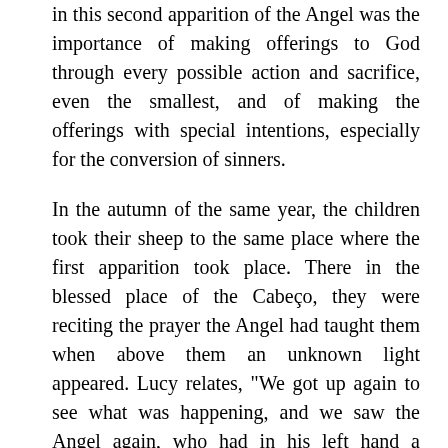in this second apparition of the Angel was the importance of making offerings to God through every possible action and sacrifice, even the smallest, and of making the offerings with special intentions, especially for the conversion of sinners.
In the autumn of the same year, the children took their sheep to the same place where the first apparition took place. There in the blessed place of the Cabeço, they were reciting the prayer the Angel had taught them when above them an unknown light appeared. Lucy relates, "We got up again to see what was happening, and we saw the Angel again, who had in his left hand a Chalice over which was suspended a Host from which there dropped of Blood